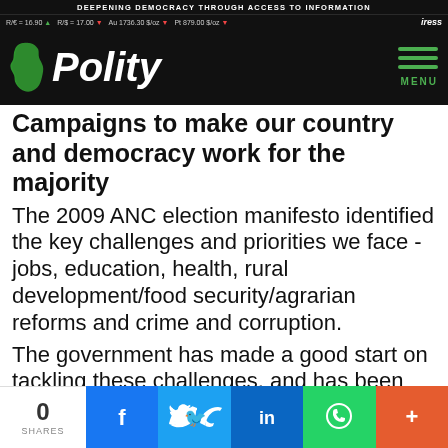DEEPENING DEMOCRACY THROUGH ACCESS TO INFORMATION
R/€ = 16.90 ▲  R/$ = 17.00 ▼  Au 1736.30 $/oz ▼  Pt 879.00 $/oz ▼  iress
[Figure (logo): Polity logo with Africa continent silhouette in green on dark background]
Campaigns to make our country and democracy work for the majority
The 2009 ANC election manifesto identified the key challenges and priorities we face - jobs, education, health, rural development/food security/agrarian reforms and crime and corruption.
The government has made a good start on tackling these challenges, and has been much more open is debating policy options. Contrary to media reports, COSATU's responses to both the State of the Nation and Budget speeches were well balanced
0 SHARES  [Facebook] [Twitter] [LinkedIn] [WhatsApp] [+]